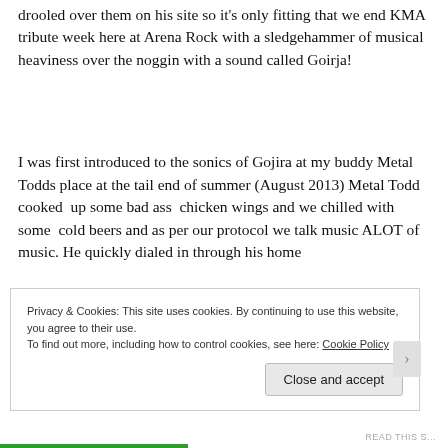drooled over them on his site so it's only fitting that we end KMA tribute week here at Arena Rock with a sledgehammer of musical heaviness over the noggin with a sound called Goirja!
I was first introduced to the sonics of Gojira at my buddy Metal Todds place at the tail end of summer (August 2013) Metal Todd cooked up some bad ass chicken wings and we chilled with some cold beers and as per our protocol we talk music ALOT of music. He quickly dialed in through his home
Privacy & Cookies: This site uses cookies. By continuing to use this website, you agree to their use.
To find out more, including how to control cookies, see here: Cookie Policy
Close and accept